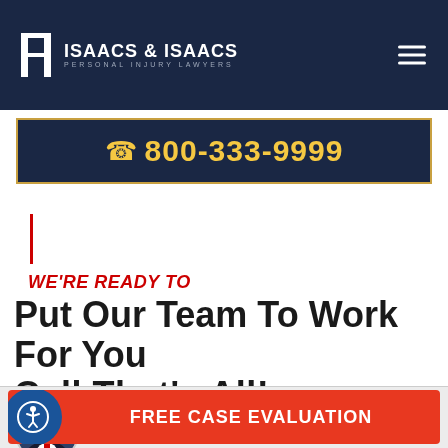[Figure (logo): Isaacs & Isaacs Personal Injury Lawyers logo with two column icon on dark navy background]
☎ 800-333-9999
WE'RE READY TO
Put Our Team To Work For You
Call That'c All!
[Figure (photo): Circular avatar photo of a man in a suit with red tie - Isaacs & Isaacs attorney]
Isaacs & Isaacs
Instant Case Evaluation Available
FREE CASE EVALUATION